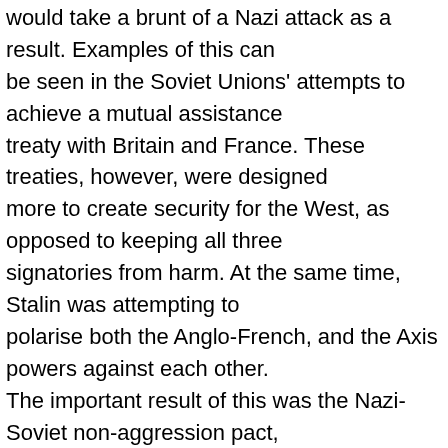would take a brunt of a Nazi attack as a result. Examples of this can be seen in the Soviet Unions' attempts to achieve a mutual assistance treaty with Britain and France. These treaties, however, were designed more to create security for the West, as opposed to keeping all three signatories from harm. At the same time, Stalin was attempting to polarise both the Anglo-French, and the Axis powers against each other. The important result of this was the Nazi-Soviet non-aggression pact, which partitioned Poland, and allowed Hitler to start the war.